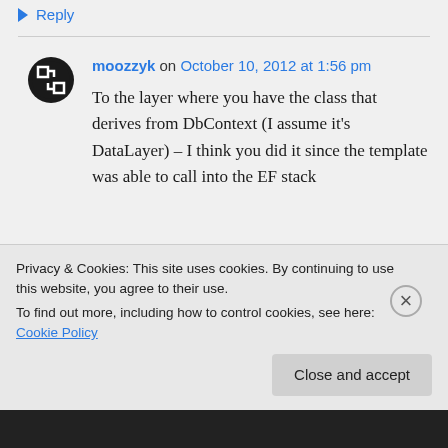↣ Reply
moozzyk on October 10, 2012 at 1:56 pm
To the layer where you have the class that derives from DbContext (I assume it's DataLayer) – I think you did it since the template was able to call into the EF stack
Privacy & Cookies: This site uses cookies. By continuing to use this website, you agree to their use.
To find out more, including how to control cookies, see here: Cookie Policy
Close and accept